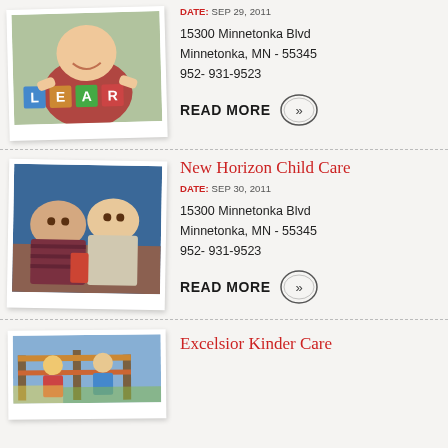[Figure (photo): Child holding letter blocks spelling LEARN outdoors]
DATE: SEP 29, 2011
15300 Minnetonka Blvd
Minnetonka, MN - 55345
952- 931-9523
READ MORE >>
[Figure (photo): Two young children playing together in a classroom]
New Horizon Child Care
DATE: SEP 30, 2011
15300 Minnetonka Blvd
Minnetonka, MN - 55345
952- 931-9523
READ MORE >>
[Figure (photo): Children on a playground structure]
Excelsior Kinder Care